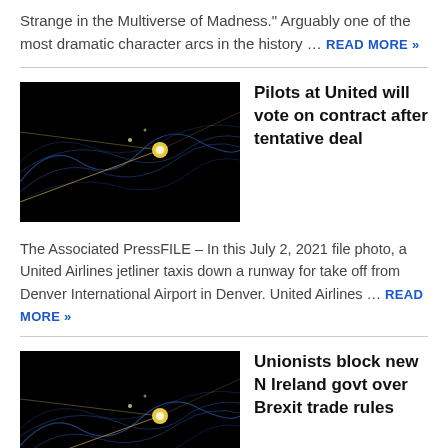Strange in the Multiverse of Madness." Arguably one of the most dramatic character arcs in the history … READ MORE »
[Figure (photo): Dark background with abstract blue wave lines and a yellow glowing point — United Airlines article image]
Pilots at United will vote on contract after tentative deal
The Associated PressFILE – In this July 2, 2021 file photo, a United Airlines jetliner taxis down a runway for take off from Denver International Airport in Denver. United Airlines … READ MORE »
[Figure (photo): Dark background with abstract blue wave lines and a yellow glowing point — Unionists article image]
Unionists block new N Ireland govt over Brexit trade rules
The Associated PressFILE – For Democratic Unionist...